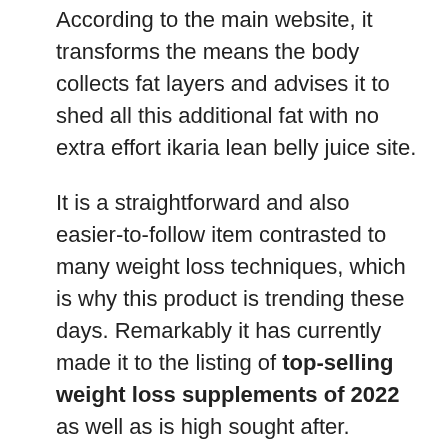According to the main website, it transforms the means the body collects fat layers and advises it to shed all this additional fat with no extra effort ikaria lean belly juice site.
It is a straightforward and also easier-to-follow item contrasted to many weight loss techniques, which is why this product is trending these days. Remarkably it has currently made it to the listing of top-selling weight loss supplements of 2022 as well as is high sought after.
It is an innovation formula created in a powdered type that makes its usage simple for all consumers. This powder easily blends with water or any beverage of your option. As soon as inside the body, it triggers a natural fat shed as well as